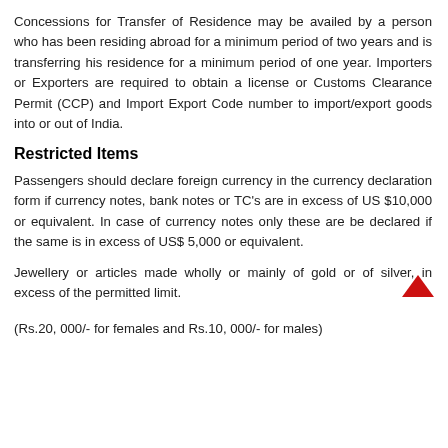Concessions for Transfer of Residence may be availed by a person who has been residing abroad for a minimum period of two years and is transferring his residence for a minimum period of one year. Importers or Exporters are required to obtain a license or Customs Clearance Permit (CCP) and Import Export Code number to import/export goods into or out of India.
Restricted Items
Passengers should declare foreign currency in the currency declaration form if currency notes, bank notes or TC's are in excess of US $10,000 or equivalent. In case of currency notes only these are be declared if the same is in excess of US$ 5,000 or equivalent.
Jewellery or articles made wholly or mainly of gold or of silver, in excess of the permitted limit.
(Rs.20, 000/- for females and Rs.10, 000/- for males)